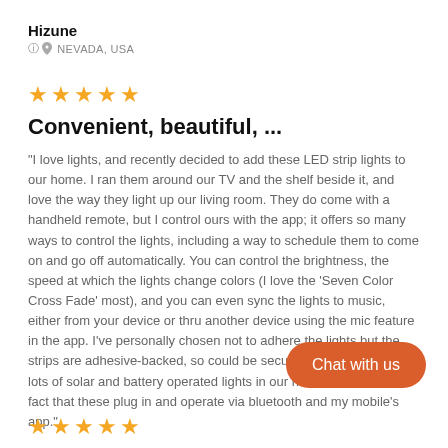Hizune
NEVADA, USA
★★★★★
Convenient, beautiful, ...
"I love lights, and recently decided to add these LED strip lights to our home. I ran them around our TV and the shelf beside it, and love the way they light up our living room. They do come with a handheld remote, but I control ours with the app; it offers so many ways to control the lights, including a way to schedule them to come on and go off automatically. You can control the brightness, the speed at which the lights change colors (I love the 'Seven Color Cross Fade' most), and you can even sync the lights to music, either from your device or thru another device using the mic feature in the app. I've personally chosen not to adhere the lights but the strips are adhesive-backed, so could be secured if desired. I have lots of solar and battery operated lights in our home, but love the fact that these plug in and operate via bluetooth and my mobile's app."
Christy
PENNSYLVANIA, USA
Chat with us
★★★★★